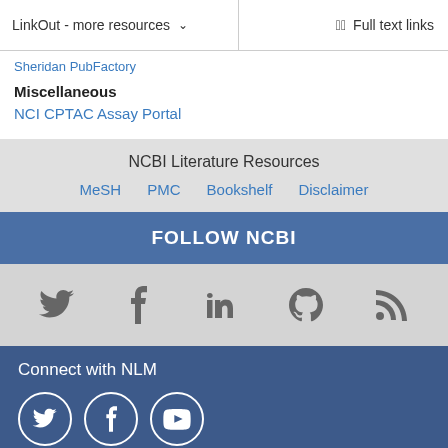LinkOut - more resources    Full text links
Sheridan PubFactory
Miscellaneous
NCI CPTAC Assay Portal
NCBI Literature Resources
MeSH   PMC   Bookshelf   Disclaimer
FOLLOW NCBI
[Figure (infographic): Social media icons: Twitter, Facebook, LinkedIn, GitHub, RSS feed]
Connect with NLM
[Figure (infographic): Social media circle icons: Twitter, Facebook, YouTube]